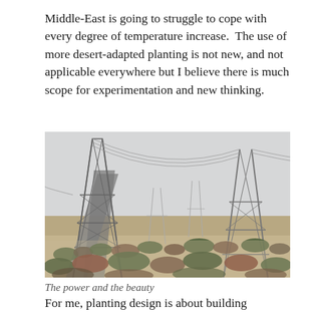Middle-East is going to struggle to cope with every degree of temperature increase. The use of more desert-adapted planting is not new, and not applicable everywhere but I believe there is much scope for experimentation and new thinking.
[Figure (photo): A desert landscape with sparse low shrubs and sandy ground, crossed by large metal electricity pylons/transmission towers under a hazy grey sky.]
The power and the beauty
For me, planting design is about building communities,